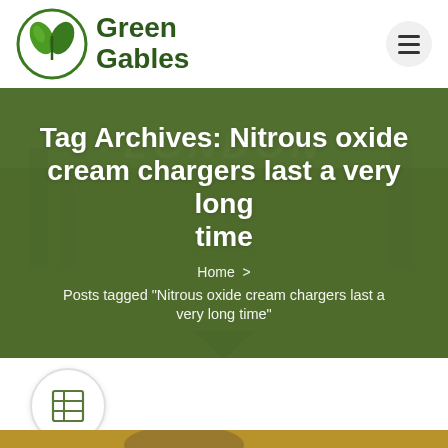Green Gables
Tag Archives: Nitrous oxide cream chargers last a very long time
Home  >
Posts tagged "Nitrous oxide cream chargers last a very long time"
[Figure (illustration): Article icon circle with grid/list symbol, and partial photo of a person at the bottom]